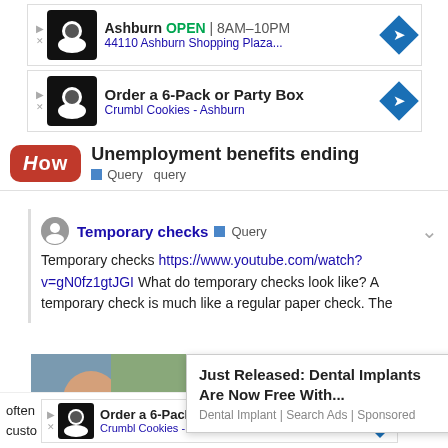[Figure (screenshot): Ad for Crumbl Cookies Ashburn showing OPEN 8AM-10PM and address 44110 Ashburn Shopping Plaza...]
[Figure (screenshot): Ad for Crumbl Cookies Ashburn: Order a 6-Pack or Party Box]
Unemployment benefits ending
Query  query
Temporary checks  Query
Temporary checks https://www.youtube.com/watch?v=gN0fz1gtJGI What do temporary checks look like? A temporary check is much like a regular paper check. The
[Figure (photo): Photo of a smiling woman outdoors]
Just Released: Dental Implants Are Now Free With...
Dental Implant | Search Ads | Sponsored
[Figure (screenshot): Ad for Crumbl Cookies Ashburn: Order a 6-Pack or Party Box]
often custo